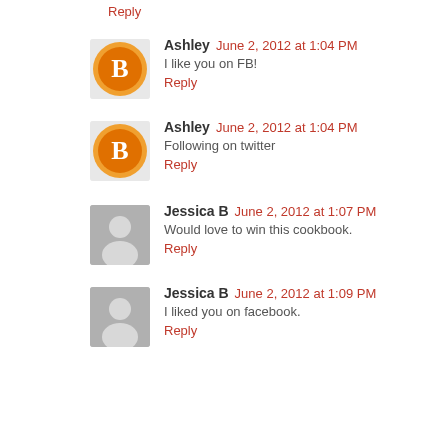Reply
Ashley June 2, 2012 at 1:04 PM
I like you on FB!
Reply
Ashley June 2, 2012 at 1:04 PM
Following on twitter
Reply
Jessica B June 2, 2012 at 1:07 PM
Would love to win this cookbook.
Reply
Jessica B June 2, 2012 at 1:09 PM
I liked you on facebook.
Reply